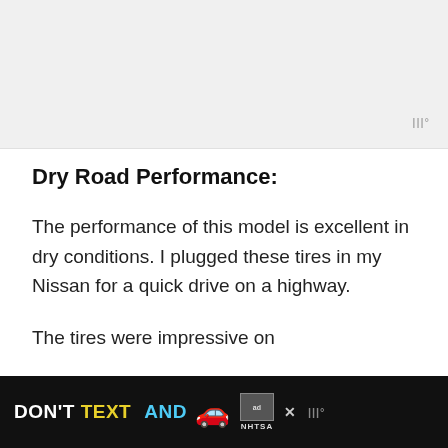[Figure (other): Top gray placeholder image area]
Dry Road Performance:
The performance of this model is excellent in dry conditions. I plugged these tires in my Nissan for a quick drive on a highway.
The tires were impressive on
[Figure (infographic): Advertisement banner: DON'T TEXT AND [car emoji] with ad and NHTSA logos on black background]